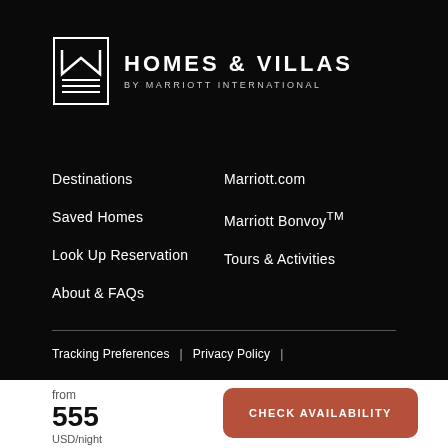[Figure (logo): Homes & Villas by Marriott International logo with decorative M icon]
Destinations
Marriott.com
Saved Homes
Marriott Bonvoy TM
Look Up Reservation
Tours & Activities
About & FAQs
Tracking Preferences | Privacy Policy |
from 555 USD/night
CHECK AVAILABILITY